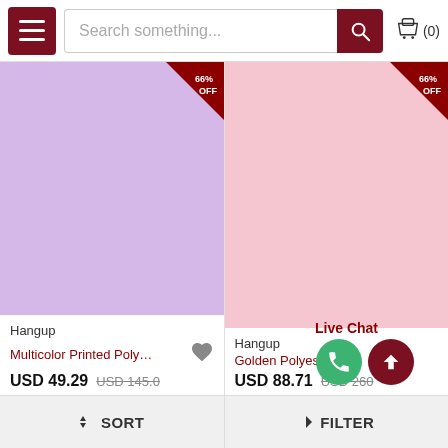Search something...
[Figure (screenshot): Product listing page showing two garment items: left card shows purple/lavender product image with 66% OFF badge, brand Hangup, product name Multicolor Printed Polyester S..., price USD 49.29 original USD 145.0; right card shows pink product image with 66% OFF badge, brand Hangup, product name Golden Polyester Printed S..., price USD 88.71 original USD 260+]
Hangup
Multicolor Printed Polyester S...
USD 49.29  USD 145.0
Hangup
Golden Polyester Printed S...
USD 88.71  USD 260
Live Chat
⇅ SORT   ▼ FILTER